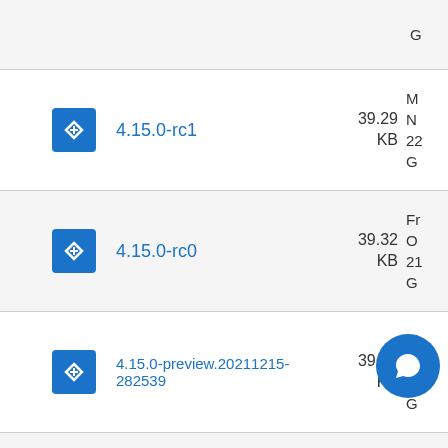G...
4.15.0-rc1 | 39.29 KB | M... N... 22... G...
4.15.0-rc0 | 39.32 KB | Fr... O... 21... G...
4.15.0-preview.20211215-282539 | 39.32 KB | Th... D... 00... G...
4.15.0- | 39.36 | Tu... O...